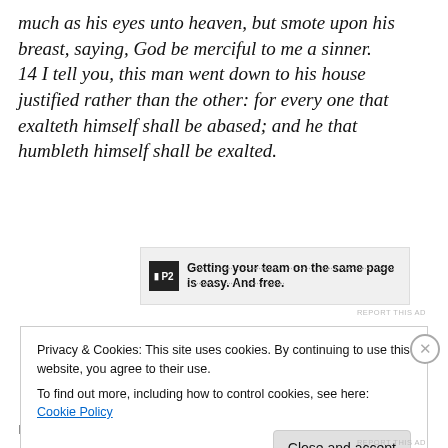much as his eyes unto heaven, but smote upon his breast, saying, God be merciful to me a sinner. 14 I tell you, this man went down to his house justified rather than the other: for every one that exalteth himself shall be abased; and he that humbleth himself shall be exalted.
LUKE 18:9-14
[Figure (screenshot): Advertisement banner for P2 with text 'Getting your team on the same page is easy. And free.']
REPORT THIS AD
Privacy & Cookies: This site uses cookies. By continuing to use this website, you agree to their use.
To find out more, including how to control cookies, see here: Cookie Policy
Close and accept